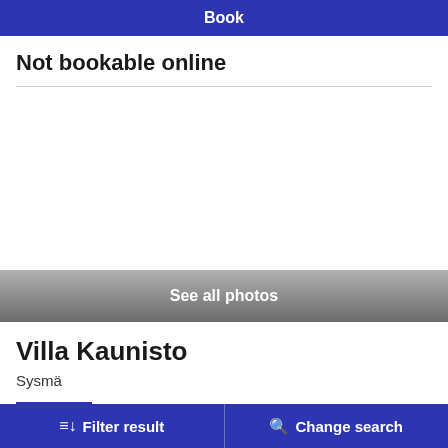Book
Not bookable online
[Figure (screenshot): Empty white area representing a photo gallery placeholder]
See all photos
Villa Kaunisto
Sysmä
COTTAGES  Villa Kaunisto is a high quality villa located in
Filter result   Change search